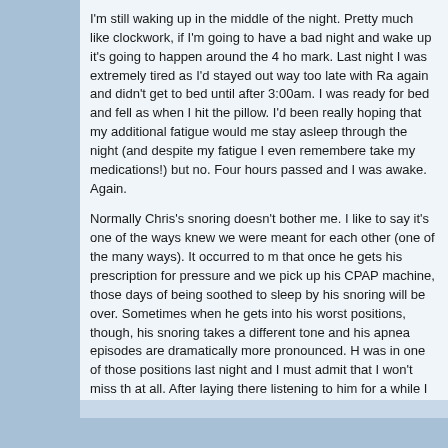I'm still waking up in the middle of the night. Pretty much like clockwork, if I'm going to have a bad night and wake up it's going to happen around the 4 hour mark. Last night I was extremely tired as I'd stayed out way too late with Ra again and didn't get to bed until after 3:00am. I was ready for bed and fell as when I hit the pillow. I'd been really hoping that my additional fatigue would me stay asleep through the night (and despite my fatigue I even remembere take my medications!) but no. Four hours passed and I was awake. Again.
Normally Chris's snoring doesn't bother me. I like to say it's one of the ways knew we were meant for each other (one of the many ways). It occurred to m that once he gets his prescription for pressure and we pick up his CPAP machine, those days of being soothed to sleep by his snoring will be over. Sometimes when he gets into his worst positions, though, his snoring takes a different tone and his apnea episodes are dramatically more pronounced. H was in one of those positions last night and I must admit that I won't miss th at all. After laying there listening to him for a while I had a flash of inspiration crept out of bed and sneaked back with our digital recorder. I thought he mig interested/amused/horrified to hear himself, especially as we're on the verge getting him the treatment that I expect will change his life for the better (if on reduce his chance of heart attack and stroke, but I also hope that he will ha the positive benefits of restful sleep and proper oxygenation).
Not sure what he imagined his snoring sounded like but I'm positive that it w what I played for him this morning. Better sleep for him is surely on the horiz
Labels: CPAP, health